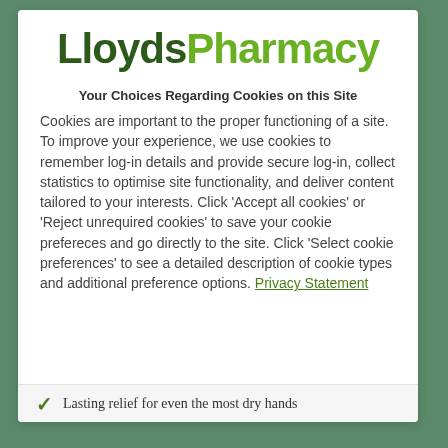[Figure (logo): LloydsPharmacy logo — 'Lloyds' in dark green bold, 'Pharmacy' in lime green bold]
Your Choices Regarding Cookies on this Site
Cookies are important to the proper functioning of a site. To improve your experience, we use cookies to remember log-in details and provide secure log-in, collect statistics to optimise site functionality, and deliver content tailored to your interests. Click 'Accept all cookies' or 'Reject unrequired cookies' to save your cookie prefereces and go directly to the site. Click 'Select cookie preferences' to see a detailed description of cookie types and additional preference options. Privacy Statement
Lasting relief for even the most dry hands